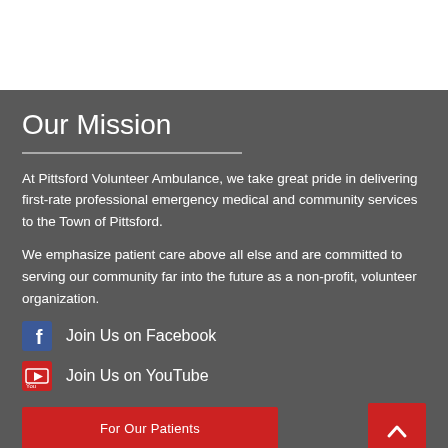Our Mission
At Pittsford Volunteer Ambulance, we take great pride in delivering first-rate professional emergency medical and community services to the Town of Pittsford.
We emphasize patient care above all else and are committed to serving our community far into the future as a non-profit, volunteer organization.
Join Us on Facebook
Join Us on YouTube
For Our Patients
Pay Your Bill